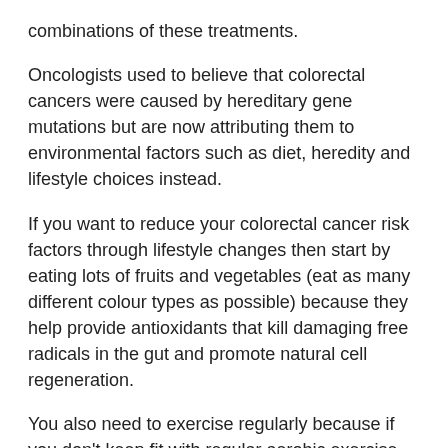combinations of these treatments.
Oncologists used to believe that colorectal cancers were caused by hereditary gene mutations but are now attributing them to environmental factors such as diet, heredity and lifestyle choices instead.
If you want to reduce your colorectal cancer risk factors through lifestyle changes then start by eating lots of fruits and vegetables (eat as many different colour types as possible) because they help provide antioxidants that kill damaging free radicals in the gut and promote natural cell regeneration.
You also need to exercise regularly because if you don't keep fit with regular aerobic exercise then it can increase your chances of gaining weight which can create an environment within your colon conducive to developing cancerous cells.